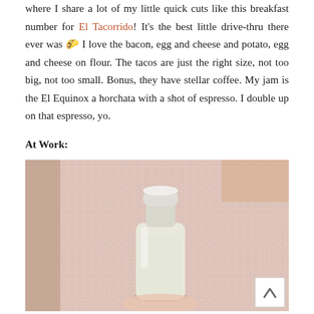where I share a lot of my little quick cuts like this breakfast number for El Tacorrido! It's the best little drive-thru there ever was 🌮 I love the bacon, egg and cheese and potato, egg and cheese on flour. The tacos are just the right size, not too big, not too small. Bonus, they have stellar coffee. My jam is the El Equinox a horchata with a shot of espresso. I double up on that espresso, yo.
At Work:
[Figure (photo): A person in a pink knit sweater holding a small glass milk bottle with a white cap, containing a light-colored liquid (likely horchata or a milk-based drink). A small white scroll-to-top button is visible in the lower right corner.]